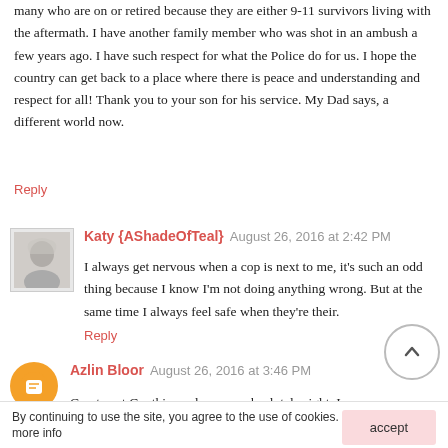many who are on or retired because they are either 9-11 survivors living with the aftermath. I have another family member who was shot in an ambush a few years ago. I have such respect for what the Police do for us. I hope the country can get back to a place where there is peace and understanding and respect for all! Thank you to your son for his service. My Dad says, a different world now.
Reply
Katy {AShadeOfTeal}  August 26, 2016 at 2:42 PM
I always get nervous when a cop is next to me, it's such an odd thing because I know I'm not doing anything wrong. But at the same time I always feel safe when they're their.
Reply
Azlin Bloor  August 26, 2016 at 3:46 PM
Great post Cynthia, and you are absolutely right. I person... no
By continuing to use the site, you agree to the use of cookies. more info
accept